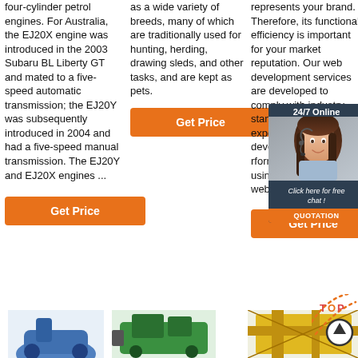four-cylinder petrol engines. For Australia, the EJ20X engine was introduced in the 2003 Subaru BL Liberty GT and mated to a five-speed automatic transmission; the EJ20Y was subsequently introduced in 2004 and had a five-speed manual transmission. The EJ20Y and EJ20X engines ...
Get Price
as a wide variety of breeds, many of which are traditionally used for hunting, herding, drawing sleds, and other tasks, and are kept as pets.
Get Price
represents your brand. Therefore, its functional efficiency is important for your market reputation. Our web development services are developed to comply with industry standards, providing a seamless experience to end-users. Our developers create high-performance websites using state-of-art website ...
[Figure (photo): Online chat widget with 24/7 Online label, photo of woman with headset, Click here for free chat text, and QUOTATION button]
Get Price
[Figure (other): TOP arrow button with dotted arc decoration]
[Figure (photo): Blue object - partial product image at bottom left]
[Figure (photo): Green machinery - partial product image at bottom center]
[Figure (photo): Yellow crane/industrial equipment - partial product image at bottom right]